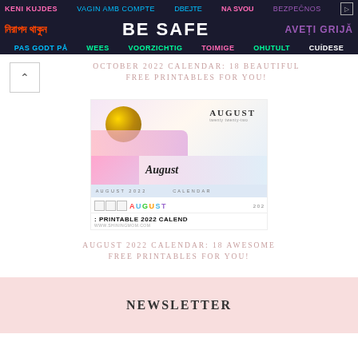[Figure (other): Multilingual safety advertisement banner with dark navy background. Row 1: 'KENI KUJDES' (pink), 'VAGIN AMB COMPTE' (blue), 'DBEJTE NA SVOU BEZPECNOS' (blue/pink/purple). Row 2: Bengali text (orange), 'BE SAFE' (white/bold), 'AVETI GRIJA' (purple). Row 3: 'PAS GODT PA' (blue), 'WEES VOORZICHTIG' (green/white), 'TOIMIGE OHUTULT' (pink/green), 'CUIDESE' (white). Play button icon top right.]
OCTOBER 2022 CALENDAR: 18 BEAUTIFUL FREE PRINTABLES FOR YOU!
[Figure (photo): Collage of August 2022 printable calendar designs featuring floral patterns, a gold circle decoration, and multiple calendar layout styles with the word AUGUST prominently displayed. Bottom text reads 'FREE PRINTABLE 2022 CALEND' and 'WWW.SHININGMOM.COM']
AUGUST 2022 CALENDAR: 18 AWESOME FREE PRINTABLES FOR YOU!
NEWSLETTER